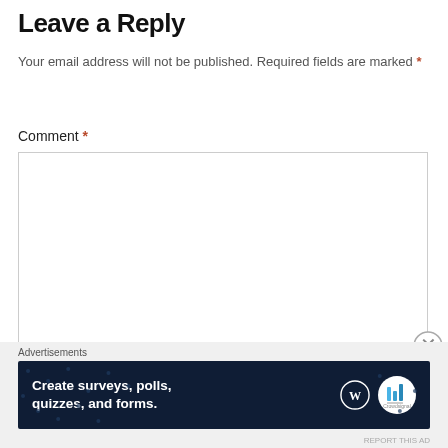Leave a Reply
Your email address will not be published. Required fields are marked *
Comment *
[Figure (screenshot): Empty comment textarea input box with light gray border]
[Figure (infographic): Advertisement banner for creating surveys, polls, quizzes, and forms. Dark navy background with white text, WordPress logo, and Crowdsignal badge.]
Advertisements
REPORT THIS AD